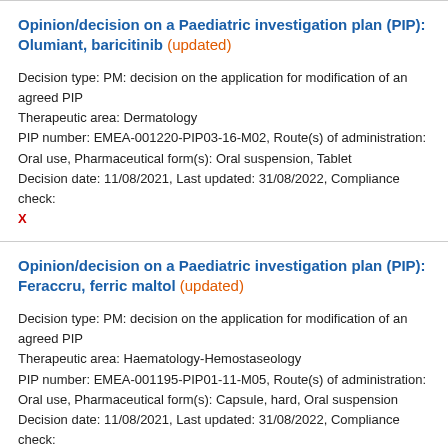Opinion/decision on a Paediatric investigation plan (PIP): Olumiant, baricitinib (updated)
Decision type: PM: decision on the application for modification of an agreed PIP
Therapeutic area: Dermatology
PIP number: EMEA-001220-PIP03-16-M02, Route(s) of administration: Oral use, Pharmaceutical form(s): Oral suspension, Tablet
Decision date: 11/08/2021, Last updated: 31/08/2022, Compliance check: X
Opinion/decision on a Paediatric investigation plan (PIP): Feraccru, ferric maltol (updated)
Decision type: PM: decision on the application for modification of an agreed PIP
Therapeutic area: Haematology-Hemostaseology
PIP number: EMEA-001195-PIP01-11-M05, Route(s) of administration: Oral use, Pharmaceutical form(s): Capsule, hard, Oral suspension
Decision date: 11/08/2021, Last updated: 31/08/2022, Compliance check: X